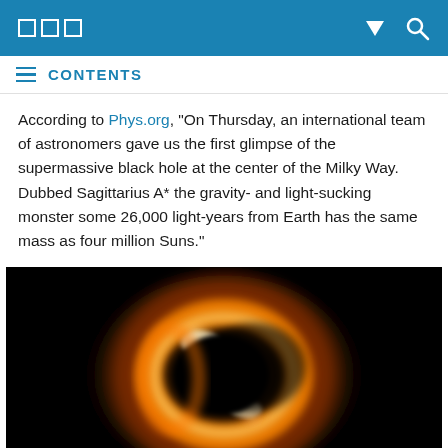□□□  ▼  🔍
≡  CONTENTS
According to Phys.org, "On Thursday, an international team of astronomers gave us the first glimpse of the supermassive black hole at the center of the Milky Way. Dubbed Sagittarius A* the gravity- and light-sucking monster some 26,000 light-years from Earth has the same mass as four million Suns."
[Figure (photo): First image of Sagittarius A*, the supermassive black hole at the center of the Milky Way galaxy. The image shows a glowing orange ring of light surrounding a dark central region against a black background, captured by the Event Horizon Telescope.]